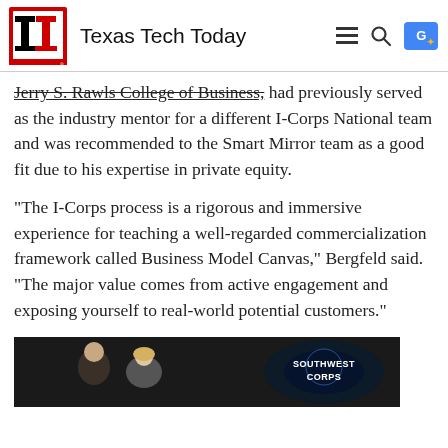Texas Tech Today
Jerry S. Rawls College of Business, had previously served as the industry mentor for a different I-Corps National team and was recommended to the Smart Mirror team as a good fit due to his expertise in private equity.
"The I-Corps process is a rigorous and immersive experience for teaching a well-regarded commercialization framework called Business Model Canvas," Bergfeld said. "The major value comes from active engagement and exposing yourself to real-world potential customers."
[Figure (photo): Photo showing people at what appears to be a Southwest Corps event, with two individuals visible and a logo/text overlay reading SOUTHWEST CORPS]